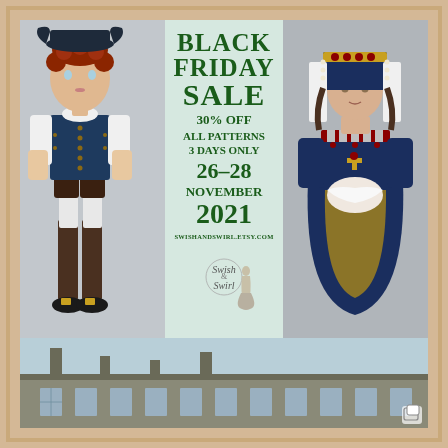[Figure (photo): Black Friday sale advertisement for Swish & Swirl doll patterns shop. Left photo: a boy doll dressed in 18th century colonial costume with navy vest, white shirt, brown breeches, white stockings, and black buckle shoes, with curly red hair. Center panel (light mint green): sale text in dark green bold font. Right photo: a girl doll in Tudor/Renaissance costume with navy blue and gold brocade dress, jeweled hood/gable headdress, and holding a muff. Bottom strip: photo of a large historic stone building/palace exterior.]
BLACK FRIDAY SALE 30% OFF ALL PATTERNS 3 DAYS ONLY 26-28 NOVEMBER 2021 SWISHANDSWIRL.ETSY.COM
[Figure (logo): Swish & Swirl script logo with silhouette of a woman in a ball gown]